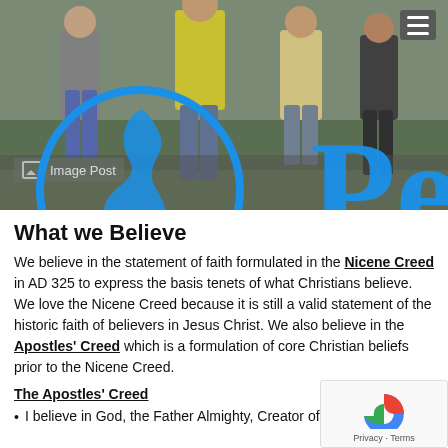[Figure (photo): Group photo of several people standing outdoors in a garden/yard area, midsection visible, overlaid with blue circle logo and 'Pe' text in large blue letters, and 'Image Post' label]
What we Believe
We believe in the statement of faith formulated in the Nicene Creed in AD 325 to express the basis tenets of what Christians believe. We love the Nicene Creed because it is still a valid statement of the historic faith of believers in Jesus Christ. We also believe in the Apostles' Creed which is a formulation of core Christian beliefs prior to the Nicene Creed.
The Apostles' Creed
I believe in God, the Father Almighty, Creator of heaven